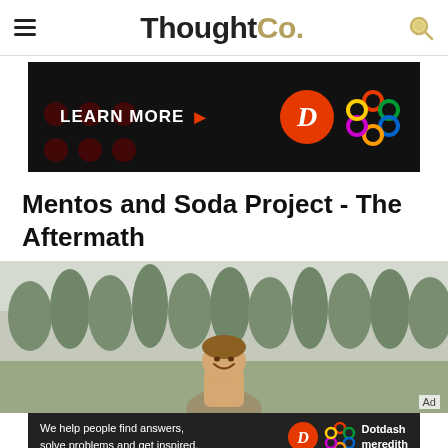ThoughtCo.
[Figure (screenshot): Advertisement banner: black background with 'LEARN MORE ▶' text and Dotdash Meredith logos (D circle and colorful knot pattern)]
Mentos and Soda Project - The Aftermath
[Figure (photo): A smiling child outdoors surrounded by trees after the Mentos and soda experiment. 'Ad' label in bottom-right corner.]
[Figure (screenshot): Bottom ad bar: 'We help people find answers, solve problems and get inspired.' with Dotdash Meredith logo]